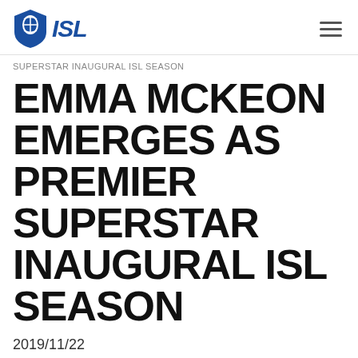ISL
SUPERSTAR INAUGURAL ISL SEASON
EMMA MCKEON EMERGES AS PREMIER SUPERSTAR INAUGURAL ISL SEASON
2019/11/22
[Figure (photo): Photo of Emma McKeon at a dark-lit event, partially visible, bottom portion of the page]